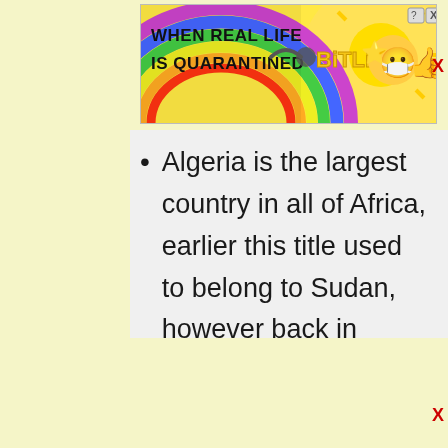[Figure (screenshot): BitLife game advertisement banner with rainbow background, text 'WHEN REAL LIFE IS QUARANTINED', BitLife logo in yellow, and cartoon character icons. Close buttons (? and X) visible in top right corner.]
Algeria is the largest country in all of Africa, earlier this title used to belong to Sudan, however back in 2011, Sudan split up into two separate countries Decreasing their land mass and giving that
[Figure (screenshot): Bottom advertisement area with yellow background and red X close button in bottom right.]